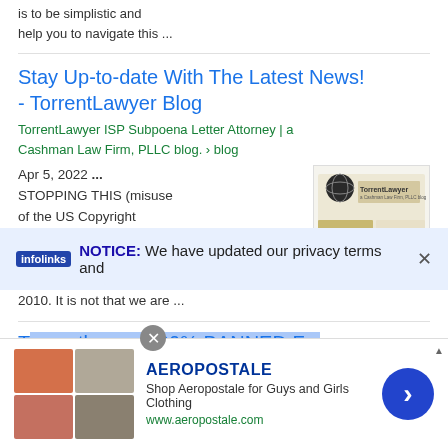is to be simplistic and help you to navigate this ...
Stay Up-to-date With The Latest News! - TorrentLawyer Blog
TorrentLawyer ISP Subpoena Letter Attorney | a Cashman Law Firm, PLLC blog. › blog
Apr 5, 2022 ... STOPPING THIS (misuse of the US Copyright Laws) has been the focus of our Cashman Law Firm PLLC law firm since 2010. It is not that we are ...
[Figure (screenshot): TorrentLawyer logo - a Cashman Law Firm, PLLC blog screenshot]
Torrentlawyer 100% BANNED F...
NOTICE: We have updated our privacy terms and
[Figure (infographic): Aeropostale advertisement banner with clothing images, shop description and navigation arrow]